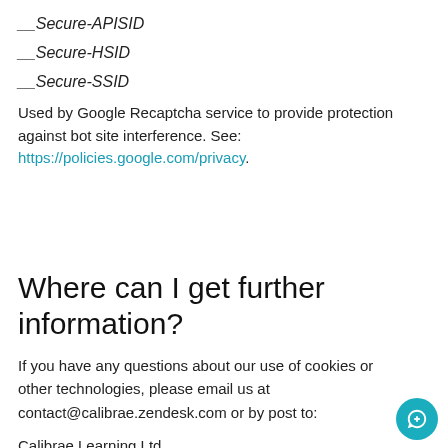__Secure-APISID
__Secure-HSID
__Secure-SSID
Used by Google Recaptcha service to provide protection against bot site interference. See: https://policies.google.com/privacy.
Where can I get further information?
If you have any questions about our use of cookies or other technologies, please email us at contact@calibrae.zendesk.com or by post to:
Calibrae Learning Ltd